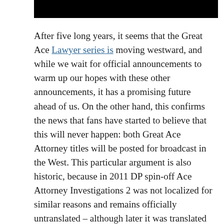[Figure (other): Black header bar at top of page]
After five long years, it seems that the Great Ace Lawyer series is moving westward, and while we wait for official announcements to warm up our hopes with these other announcements, it has a promising future ahead of us. On the other hand, this confirms the news that fans have started to believe that this will never happen: both Great Ace Attorney titles will be posted for broadcast in the West. This particular argument is also historic, because in 2011 DP spin-off Ace Attorney Investigations 2 was not localized for similar reasons and remains officially untranslated – although later it was translated by one of the